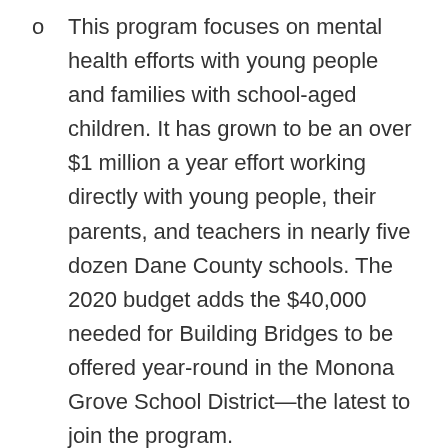This program focuses on mental health efforts with young people and families with school-aged children. It has grown to be an over $1 million a year effort working directly with young people, their parents, and teachers in nearly five dozen Dane County schools. The 2020 budget adds the $40,000 needed for Building Bridges to be offered year-round in the Monona Grove School District—the latest to join the program.
Senior Mental Health Specialists:
County Executive Parisi's 2020 budget